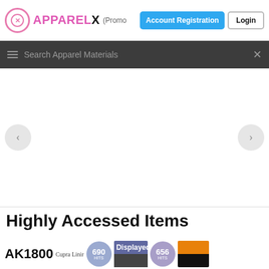APPARELX - Featured Items (Promo...)
[Figure (screenshot): ApparelX website header with logo, Account Registration button (blue), Login button, search bar with hamburger menu and close icon, empty carousel with left/right navigation arrows]
Highly Accessed Items
AK1800 Cupra Linin... 690 HITS | Displayed | 656 HITS